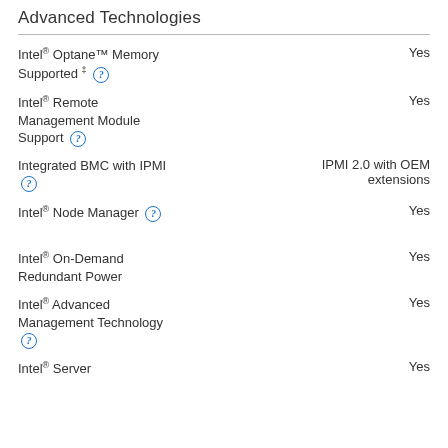Advanced Technologies
Intel® Optane™ Memory Supported ‡
Intel® Remote Management Module Support
Integrated BMC with IPMI
Intel® Node Manager
Intel® On-Demand Redundant Power
Intel® Advanced Management Technology
Intel® Server